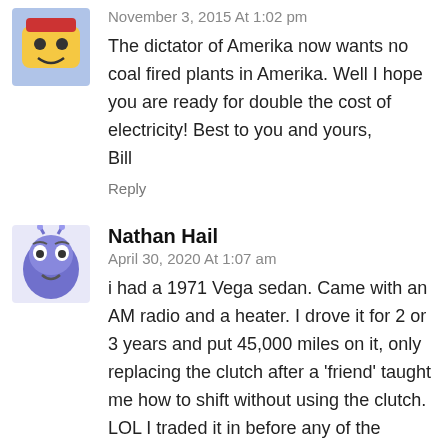[Figure (illustration): Small avatar icon showing a yellow/orange cartoon face with a hat, used as commenter profile picture]
November 3, 2015 At 1:02 pm
The dictator of Amerika now wants no coal fired plants in Amerika. Well I hope you are ready for double the cost of electricity! Best to you and yours,
Bill
Reply
[Figure (illustration): Small avatar icon showing a blue alien/monster cartoon face, used as commenter profile picture]
Nathan Hail
April 30, 2020 At 1:07 am
i had a 1971 Vega sedan. Came with an AM radio and a heater. I drove it for 2 or 3 years and put 45,000 miles on it, only replacing the clutch after a 'friend' taught me how to shift without using the clutch. LOL I traded it in before any of the defects showed up and got a great trade-in price for it. Later when I heard of stories about overheating rusting, etc. I felt lucky to have traded